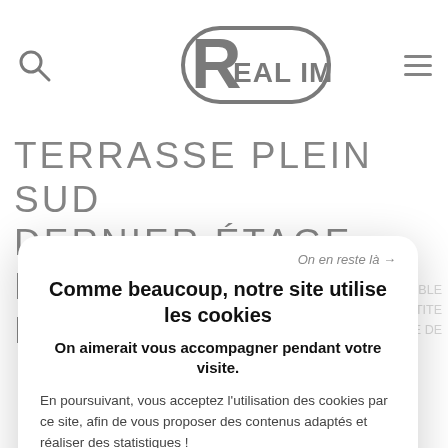[Figure (logo): Real Immo logo with stylized R and rounded rectangle border]
TERRASSE PLEIN SUD DERNIER ÉTAGE BOIS D'ARCY CENTRE
DISPONIBLE, PETITE, RCENTRE DE
On en reste là →
Comme beaucoup, notre site utilise les cookies
On aimerait vous accompagner pendant votre visite.
En poursuivant, vous acceptez l'utilisation des cookies par ce site, afin de vous proposer des contenus adaptés et réaliser des statistiques !
PARAMÉTRER
OK POUR MOI !